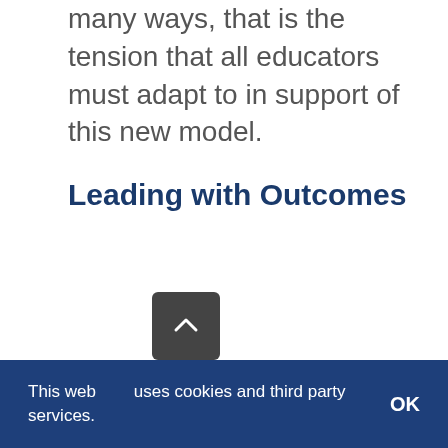many ways, that is the tension that all educators must adapt to in support of this new model.
Leading with Outcomes
This website uses cookies and third party services.